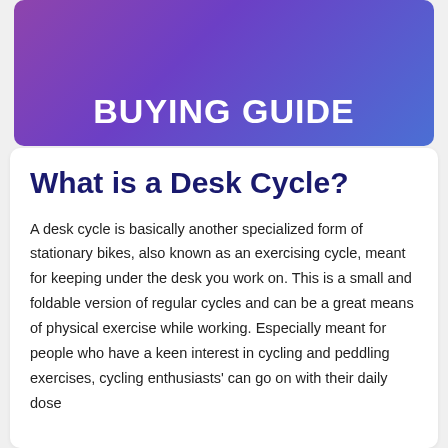BUYING GUIDE
What is a Desk Cycle?
A desk cycle is basically another specialized form of stationary bikes, also known as an exercising cycle, meant for keeping under the desk you work on. This is a small and foldable version of regular cycles and can be a great means of physical exercise while working. Especially meant for people who have a keen interest in cycling and peddling exercises, cycling enthusiasts' can go on with their daily dose